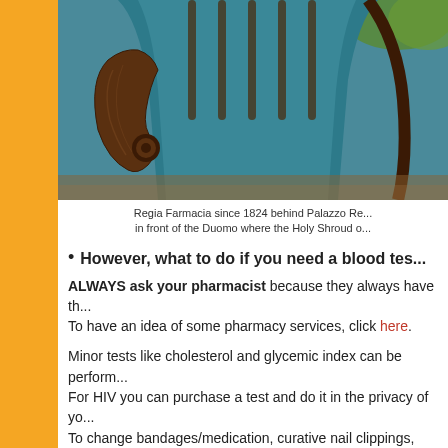[Figure (photo): Close-up photo of an antique wooden chair with blue velvet upholstery, showing the curved wooden armrest and spindle details]
Regia Farmacia since 1824 behind Palazzo Re... in front of the Duomo where the Holy Shroud o...
However, what to do if you need a blood tes...
ALWAYS ask your pharmacist because they always have th... To have an idea of some pharmacy services, click here.
Minor tests like cholesterol and glycemic index can be perform... For HIV you can purchase a test and do it in the privacy of yo... To change bandages/medication, curative nail clippings, pres...